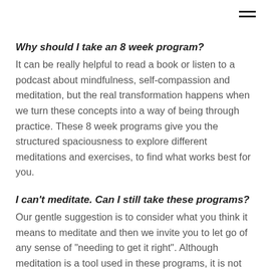Why should I take an 8 week program?
It can be really helpful to read a book or listen to a podcast about mindfulness, self-compassion and meditation, but the real transformation happens when we turn these concepts into a way of being through practice. These 8 week programs give you the structured spaciousness to explore different meditations and exercises, to find what works best for you.
I can't meditate. Can I still take these programs?
Our gentle suggestion is to consider what you think it means to meditate and then we invite you to let go of any sense of "needing to get it right". Although meditation is a tool used in these programs, it is not essential to have any